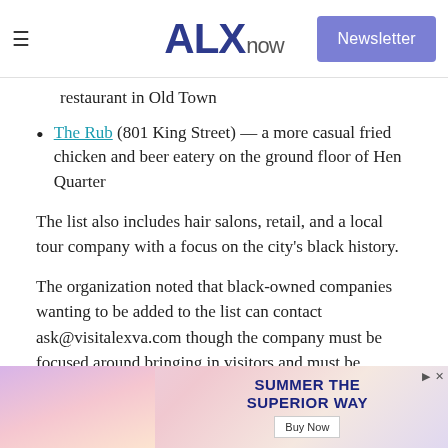ALXnow — Newsletter
restaurant in Old Town
The Rub (801 King Street) — a more casual fried chicken and beer eatery on the ground floor of Hen Quarter
The list also includes hair salons, retail, and a local tour company with a focus on the city's black history.
The organization noted that black-owned companies wanting to be added to the list can contact ask@visitalexva.com though the company must be focused around bringing in visitors and must be located in the City of Alexandria — sorry "Alexandria, Fairfax."
[Figure (photo): Advertisement banner: Summer the Superior Way with Buy Now button, showing a person with a drink]